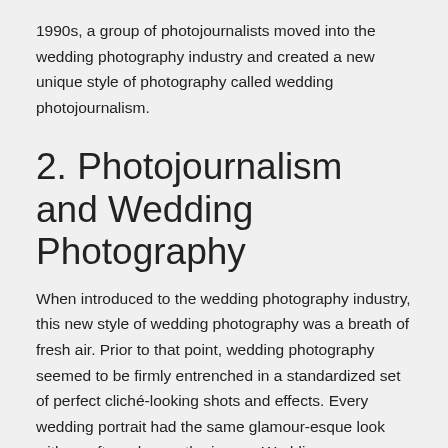1990s, a group of photojournalists moved into the wedding photography industry and created a new unique style of photography called wedding photojournalism.
2. Photojournalism and Wedding Photography
When introduced to the wedding photography industry, this new style of wedding photography was a breath of fresh air. Prior to that point, wedding photography seemed to be firmly entrenched in a standardized set of perfect cliché-looking shots and effects. Every wedding portrait had the same glamour-esque look with a soft wash over the image. Wedding photography consisted of capturing, and even fabricating, the exact same image with each and every client. “Let’s do the looking out the window shot, ok, now look into your watch, ok, now tie your shoes, ok, now button your cuffs, etc.”